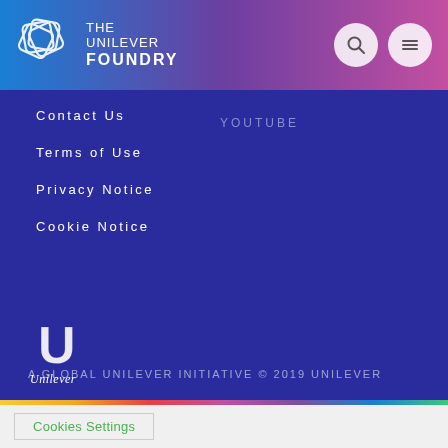THE UNILEVER FOUNDRY
Contact Us
Terms of Use
Privacy Notice
Cookie Notice
YOUTUBE
[Figure (logo): Unilever logo — white U shield with decorative pattern and Unilever wordmark below]
A GLOBAL UNILEVER INITIATIVE © 2019 UNILEVER
Cookies Settings